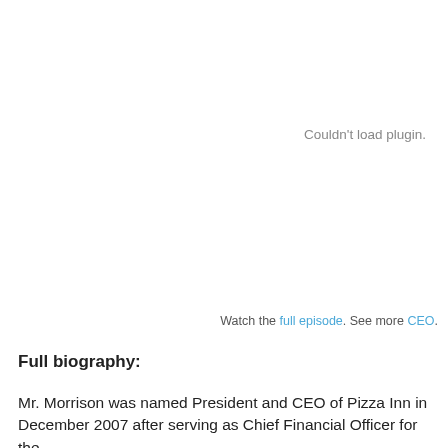[Figure (other): Couldn't load plugin. — embedded media plugin placeholder area]
Watch the full episode. See more CEO.
Full biography:
Mr. Morrison was named President and CEO of Pizza Inn in December 2007 after serving as Chief Financial Officer for the